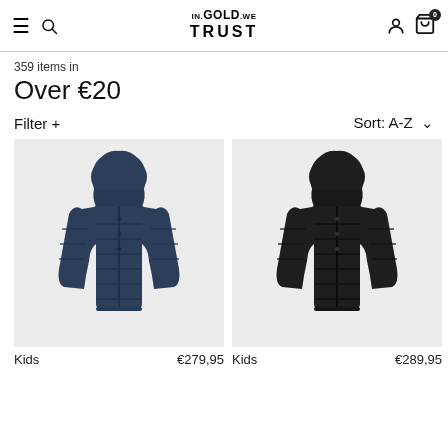IN.GOLD.WE TRUST — navigation header with hamburger, search, logo, user and cart icons
359 items in
Over €20
Filter +    Sort: A-Z
[Figure (photo): Navy blue hooded puffer jacket on light grey background]
Kids    €279,95
[Figure (photo): Black hooded puffer jacket on light grey background]
Kids    €289,95